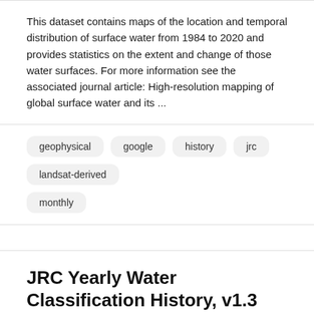This dataset contains maps of the location and temporal distribution of surface water from 1984 to 2020 and provides statistics on the extent and change of those water surfaces. For more information see the associated journal article: High-resolution mapping of global surface water and its ...
geophysical
google
history
jrc
landsat-derived
monthly
JRC Yearly Water Classification History, v1.3
This dataset contains maps of the location and temporal